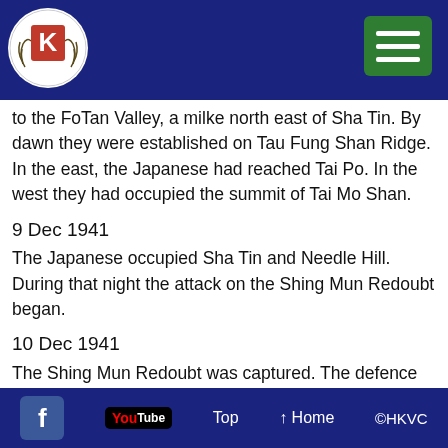HKVC website header with logo and menu button
to the FoTan Valley, a milke north east of Sha Tin. By dawn they were established on Tau Fung Shan Ridge. In the east, the Japanese had reached Tai Po. In the west they had occupied the summit of Tai Mo Shan.
9 Dec 1941
The Japanese occupied Sha Tin and Needle Hill. During that night the attack on the Shing Mun Redoubt began.
10 Dec 1941
The Shing Mun Redoubt was captured. The defence plan was now in ruins and it was decided to evacuate the island.
11 Dec 1941
An intense Japanese bombardment broke the new line
Top   ↑ Home   ©HKVC